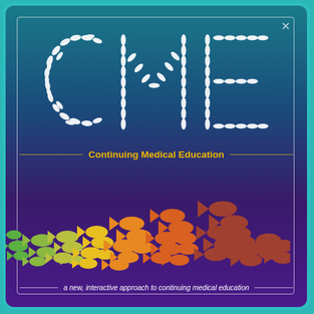[Figure (logo): CME Continuing Medical Education logo. Large letters C, M, E formed by schooling fish silhouettes in white on a teal/dark-blue gradient background. Below the letters, colorful fish silhouettes in green, yellow, orange, and brown-red swim in a school formation across the lower half of the image.]
CME
Continuing Medical Education
a new, interactive approach to continuing medical education